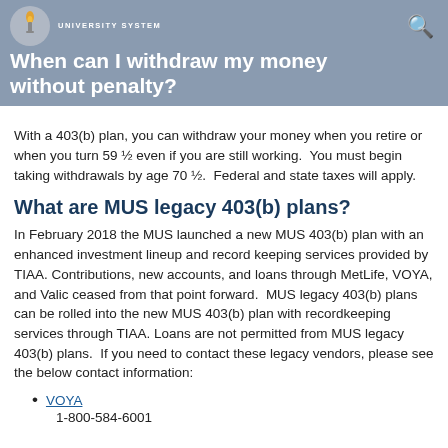When can I withdraw my money without penalty?
With a 403(b) plan, you can withdraw your money when you retire or when you turn 59 ½ even if you are still working. You must begin taking withdrawals by age 70 ½. Federal and state taxes will apply.
What are MUS legacy 403(b) plans?
In February 2018 the MUS launched a new MUS 403(b) plan with an enhanced investment lineup and record keeping services provided by TIAA. Contributions, new accounts, and loans through MetLife, VOYA, and Valic ceased from that point forward. MUS legacy 403(b) plans can be rolled into the new MUS 403(b) plan with recordkeeping services through TIAA. Loans are not permitted from MUS legacy 403(b) plans. If you need to contact these legacy vendors, please see the below contact information:
VOYA
1-800-584-6001